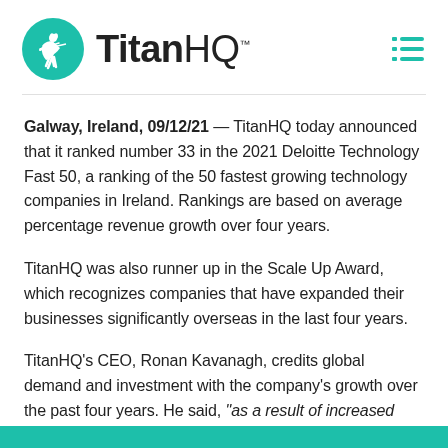[Figure (logo): TitanHQ logo with teal circle containing white archer silhouette and 'TitanHQ' wordmark in bold black text with trademark symbol]
Galway, Ireland, 09/12/21 — TitanHQ today announced that it ranked number 33 in the 2021 Deloitte Technology Fast 50, a ranking of the 50 fastest growing technology companies in Ireland. Rankings are based on average percentage revenue growth over four years.
TitanHQ was also runner up in the Scale Up Award, which recognizes companies that have expanded their businesses significantly overseas in the last four years.
TitanHQ's CEO, Ronan Kavanagh, credits global demand and investment with the company's growth over the past four years. He said, "as a result of increased demand globally for